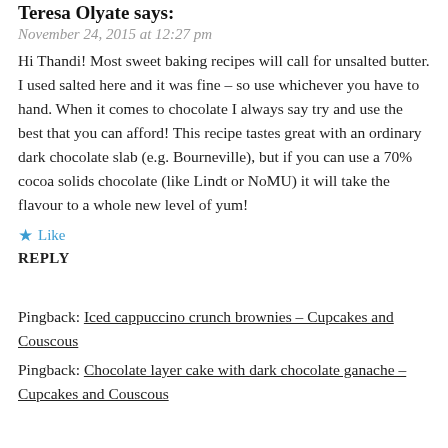Teresa Olyate says:
November 24, 2015 at 12:27 pm
Hi Thandi! Most sweet baking recipes will call for unsalted butter. I used salted here and it was fine – so use whichever you have to hand. When it comes to chocolate I always say try and use the best that you can afford! This recipe tastes great with an ordinary dark chocolate slab (e.g. Bourneville), but if you can use a 70% cocoa solids chocolate (like Lindt or NoMU) it will take the flavour to a whole new level of yum!
★ Like
REPLY
Pingback: Iced cappuccino crunch brownies – Cupcakes and Couscous
Pingback: Chocolate layer cake with dark chocolate ganache – Cupcakes and Couscous